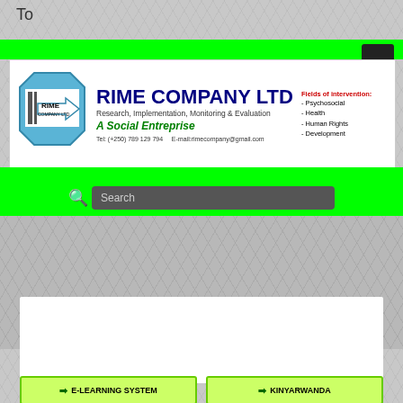To
[Figure (logo): RIME COMPANY LTD logo with octagon shape and arrow]
RIME COMPANY LTD
Research, Implementation, Monitoring & Evaluation
A Social Entreprise
Tel: (+250) 789 129 794   E-mail:rimecompany@gmail.com
Fields of intervention:
- Psychosocial
- Health
- Human Rights
- Development
Search
E-LEARNING SYSTEM
KINYARWANDA